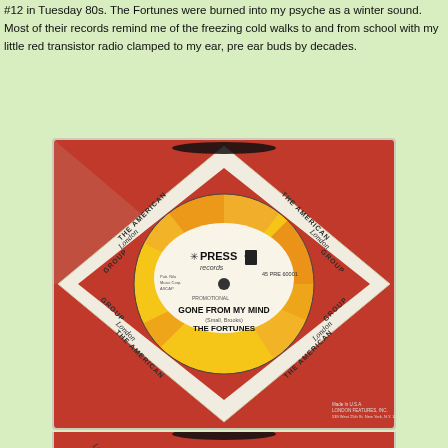#12 in Tuesday 80s. The Fortunes were burned into my psyche as a winter sound. Most of their records remind me of the freezing cold walks to and from school with my little red transistor radio clamped to my ear, pre ear buds by decades.
[Figure (photo): A 45 RPM vinyl record 'Gone From My Mind' by The Fortunes on Press Records, shown in its American London Group record sleeve with diamond pattern design.]
[Figure (photo): Bottom portion of a second 45 RPM vinyl record sleeve with American London Group diamond pattern design, partially visible.]